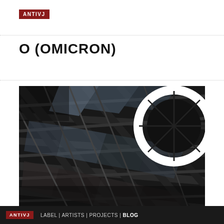ANTIVJ
O (OMICRON)
[Figure (photo): Close-up architectural/structural photograph of a large circular industrial or architectural structure with a dark lattice grid pattern, radiating spokes toward a white circular ring in the upper right.]
ANTIVJ LABEL | ARTISTS | PROJECTS | BLOG